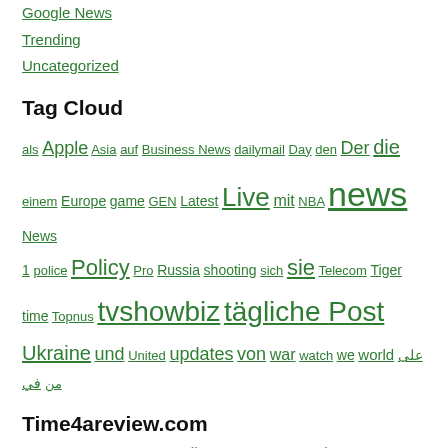Google News
Trending
Uncategorized
Tag Cloud
als Apple Asia auf Business News dailymail Day den Der die einem Europe game GEN Latest Live mit NBA news News 1 police Policy Pro Russia shooting sich sie Telecom Tiger time Topnus tvshowbiz tägliche Post Ukraine und United updates von war watch we world على من في
Time4areview.com
У Джио есть отличный план на 84 дня с Disney+ Hotstar